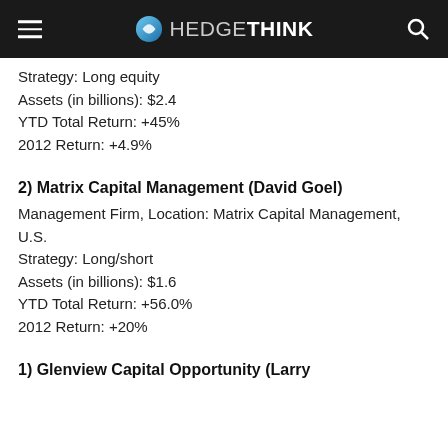HEDGETHINK
Strategy: Long equity
Assets (in billions): $2.4
YTD Total Return: +45%
2012 Return: +4.9%
2) Matrix Capital Management (David Goel)
Management Firm, Location: Matrix Capital Management, U.S.
Strategy: Long/short
Assets (in billions): $1.6
YTD Total Return: +56.0%
2012 Return: +20%
1) Glenview Capital Opportunity (Larry